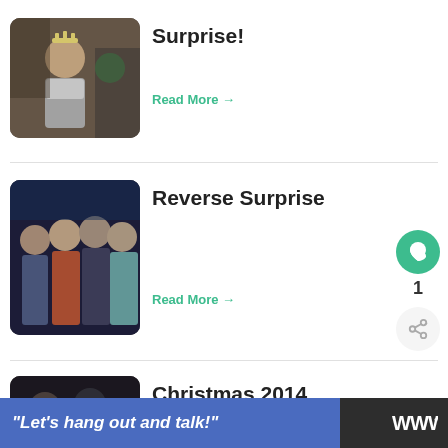[Figure (photo): Woman wearing a tiara at a party, smiling at camera]
Surprise!
Read More →
[Figure (photo): Group of women posing together at a night out]
Reverse Surprise
Read More →
[Figure (photo): Family photo with adults and a baby in red outfit]
Christmas 2014
WHAT'S NEXT → A Spring Surprise
“Let’s hang out and talk!”